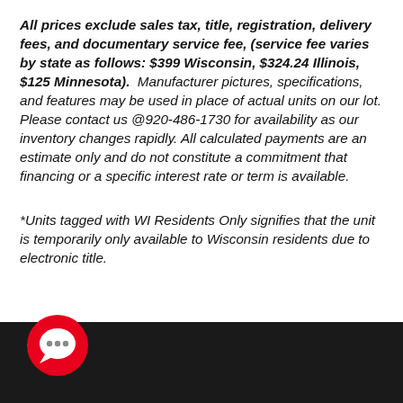All prices exclude sales tax, title, registration, delivery fees, and documentary service fee, (service fee varies by state as follows: $399 Wisconsin, $324.24 Illinois, $125 Minnesota). Manufacturer pictures, specifications, and features may be used in place of actual units on our lot. Please contact us @920-486-1730 for availability as our inventory changes rapidly. All calculated payments are an estimate only and do not constitute a commitment that financing or a specific interest rate or term is available.
*Units tagged with WI Residents Only signifies that the unit is temporarily only available to Wisconsin residents due to electronic title.
[Figure (illustration): Red circular chat/message icon with three white dots, positioned in bottom-left over a dark footer bar]